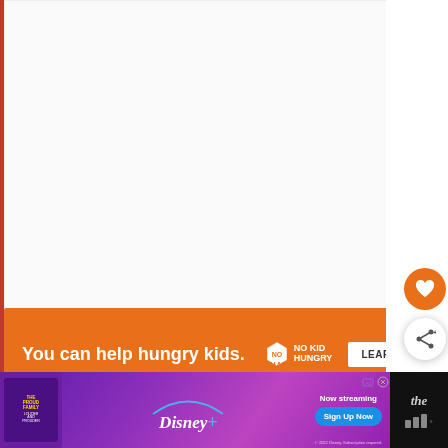[Figure (screenshot): Orange advertisement banner: 'You can help hungry kids.' with No Kid Hungry logo and LEARN HOW button]
[Figure (screenshot): Circular orange heart/favorite button in the right sidebar]
[Figure (screenshot): Circular share button in the right sidebar]
[Figure (screenshot): What's Next panel showing '31 Game of Thrones...' with thumbnail]
INSTRUCTIONS
[Figure (screenshot): Disney+ advertisement banner for The Proud Family: Louder and Prouder with Sign Up Now button]